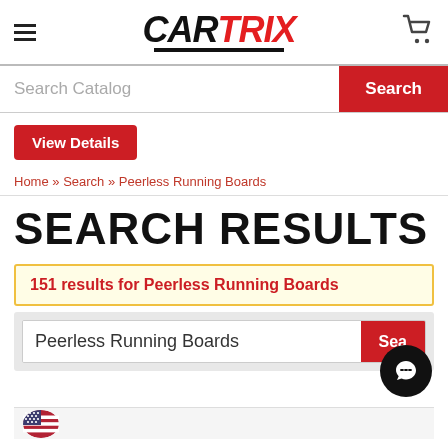CARTRIX — navigation header with hamburger menu, logo, and cart icon
Search Catalog  Search
View Details
Home » Search » Peerless Running Boards
SEARCH RESULTS
151 results for Peerless Running Boards
Peerless Running Boards  Search
[Figure (illustration): US flag icon (circle) partially visible at bottom left]